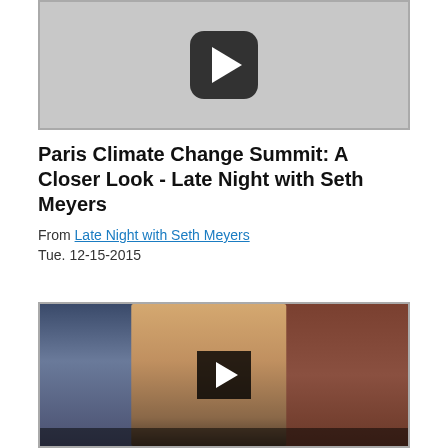[Figure (screenshot): Video thumbnail with play button on grey background]
Paris Climate Change Summit: A Closer Look - Late Night with Seth Meyers
From Late Night with Seth Meyers
Tue. 12-15-2015
[Figure (screenshot): Video thumbnail showing a man (Bradley Cooper) on a late night talk show set with blue bookcase background and brick wall, with a play button overlay]